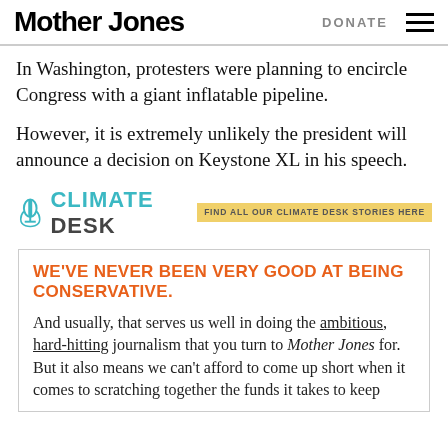Mother Jones | DONATE
In Washington, protesters were planning to encircle Congress with a giant inflatable pipeline.
However, it is extremely unlikely the president will announce a decision on Keystone XL in his speech.
[Figure (logo): Climate Desk logo with microphone icon, teal and gray text reading CLIMATE DESK, followed by a yellow badge reading FIND ALL OUR CLIMATE DESK STORIES HERE]
WE'VE NEVER BEEN VERY GOOD AT BEING CONSERVATIVE.
And usually, that serves us well in doing the ambitious, hard-hitting journalism that you turn to Mother Jones for. But it also means we can't afford to come up short when it comes to scratching together the funds it takes to keep